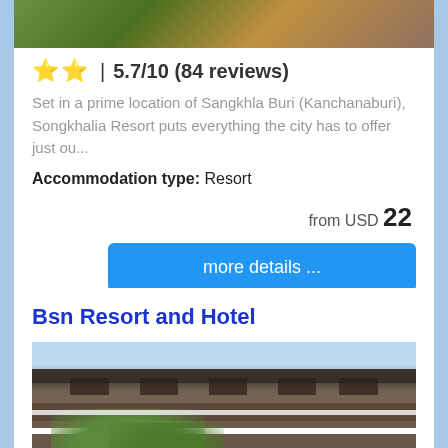[Figure (photo): Top portion of a resort/hotel photo showing lush greenery and vegetation]
⭐⭐ | 5.7/10 (84 reviews)
Set in a prime location of Sangkhla Buri (Kanchanaburi), Songkhalia Resort puts everything the city has to offer just ou...
Accommodation type: Resort
from USD 22
more details ...
Bsn Resort and Hotel
[Figure (photo): Exterior photo of Bsn Resort and Hotel showing a two-story building with large overhanging roof, balconies, pillars, and tropical trees in foreground against a blue sky]